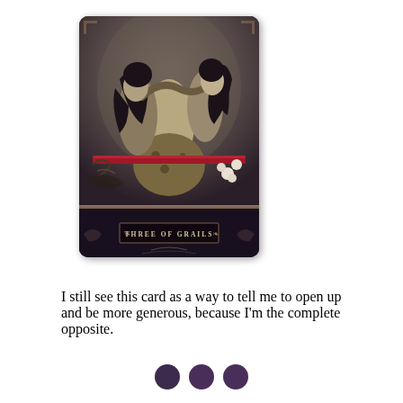[Figure (illustration): A tarot card illustration titled 'THREE OF GRAILS' showing two dark-haired figures in an intimate embrace, with decorative elements including a red horizontal bar, white flowers, and ornate gothic styling. The card has a dark border with gold trim and the title displayed in a label band at the bottom.]
I still see this card as a way to tell me to open up and be more generous, because I'm the complete opposite.